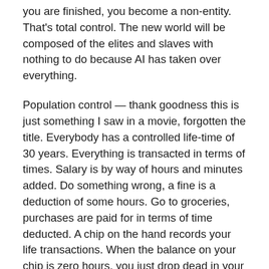you are finished, you become a non-entity. That's total control. The new world will be composed of the elites and slaves with nothing to do because AI has taken over everything.
Population control — thank goodness this is just something I saw in a movie, forgotten the title. Everybody has a controlled life-time of 30 years. Everything is transacted in terms of times. Salary is by way of hours and minutes added. Do something wrong, a fine is a deduction of some hours. Go to groceries, purchases are paid for in terms of time deducted. A chip on the hand records your life transactions. When the balance on your chip is zero hours, you just drop dead in your tracks. If you're a fat cat the chip in your hand will show a few hundred thousand hours. You are easy prey to hackers who will kidnap you